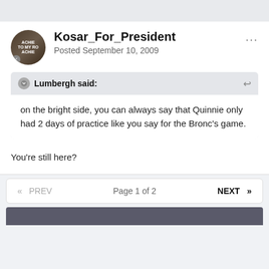Kosar_For_President
Posted September 10, 2009
Lumbergh said:
on the bright side, you can always say that Quinnie only had 2 days of practice like you say for the Bronc's game.
You're still here?
« PREV   Page 1 of 2   NEXT »